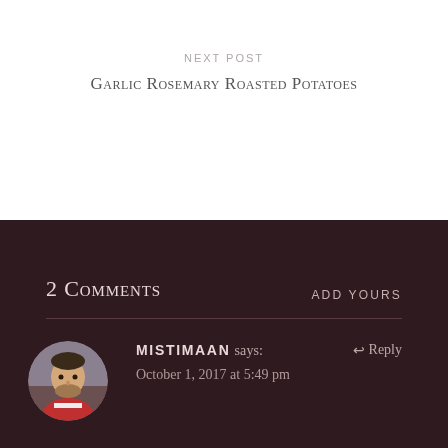NEXT POST
Garlic Rosemary Roasted Potatoes
2 Comments
ADD YOURS
MISTIMAAN says:
October 1, 2017 at 5:49 pm
Reply